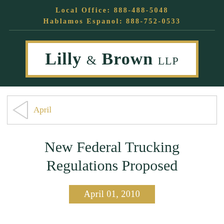Local Office: 888-488-5048
Hablamos Espanol: 888-752-0533
[Figure (logo): Lilly & Brown LLP law firm logo, dark green background with gold-bordered white box containing firm name in serif font]
April
New Federal Trucking Regulations Proposed
April 01, 2010
By Lilly, O'... Brown, LLP